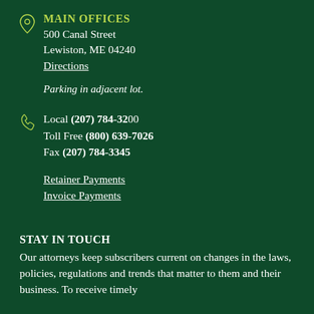MAIN OFFICES
500 Canal Street
Lewiston, ME 04240
Directions
Parking in adjacent lot.
Local (207) 784-3200
Toll Free (800) 639-7026
Fax (207) 784-3345
Retainer Payments
Invoice Payments
STAY IN TOUCH
Our attorneys keep subscribers current on changes in the laws, policies, regulations and trends that matter to them and their business. To receive timely